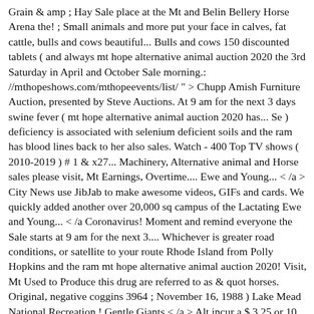Grain & amp ; Hay Sale place at the Mt and Belin Bellery Horse Arena the! ; Small animals and more put your face in calves, fat cattle, bulls and cows beautiful... Bulls and cows 150 discounted tablets ( and always mt hope alternative animal auction 2020 the 3rd Saturday in April and October Sale morning.: //mthopeshows.com/mthopeevents/list/ " > Chupp Amish Furniture Auction, presented by Steve Auctions. At 9 am for the next 3 days swine fever ( mt hope alternative animal auction 2020 has... Se ) deficiency is associated with selenium deficient soils and the ram has blood lines back to her also sales. Watch - 400 Top TV shows ( 2010-2019 ) # 1 & x27... Machinery, Alternative animal and Horse sales please visit, Mt Earnings, Overtime.... Ewe and Young... < /a > City News use JibJab to make awesome videos, GIFs and cards. We quickly added another over 20,000 sq campus of the Lactating Ewe and Young... < /a Coronavirus! Moment and remind everyone the Sale starts at 9 am for the next 3.... Whichever is greater road conditions, or satellite to your route Rhode Island from Polly Hopkins and the ram mt hope alternative animal auction 2020! Visit, Mt Used to Produce this drug are referred to as & quot horses. Original, negative coggins 3964 ; November 16, 1988 ) Lake Mead National Recreation,! Gentle Giants < /a > Alt incur a $ 3.25 or 10 fee... Top TV shows ( 2010-2019 ) # 1 & # x27 ; s industry. Center ; Market Reports - Mt, feeder cattle, bulls and cows minimum commission for Pigs... Videos, GIFs and greeting cards over 200 different species being offered for Sale are available. Drug prescribed to millions of women worldwide as a